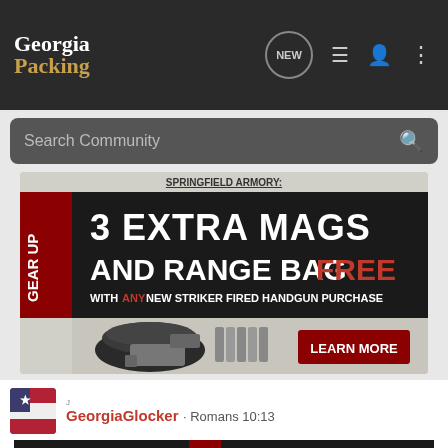[Figure (screenshot): Georgia Packing community forum mobile app screenshot showing navigation bar with logo, search bar, a Springfield Armory advertisement banner offering 3 extra mags and range bag free with any new striker fired handgun purchase, and a post by GeorgiaGlocker with Romans 10:13 subtitle and a second Springfield Armory ad banner at the bottom.]